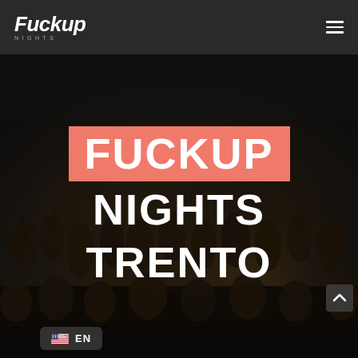[Figure (logo): Fuckup Nights logo in white italic bold text with 'NIGHTS' subtitle in small caps below, on dark background]
[Figure (photo): Dark crowd photo of people at an event with hands raised, used as hero background]
FUCKUP NIGHTS TRENTO